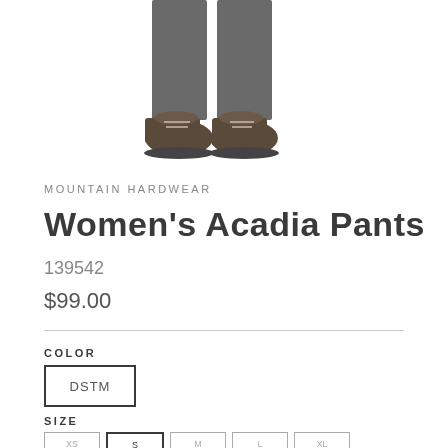[Figure (photo): Bottom portion of a person wearing dark pants and brown hiking boots/shoes, gray-scale photo showing legs from approximately knee-height down]
MOUNTAIN HARDWEAR
Women's Acadia Pants
139542
$99.00
COLOR
DSTM
SIZE